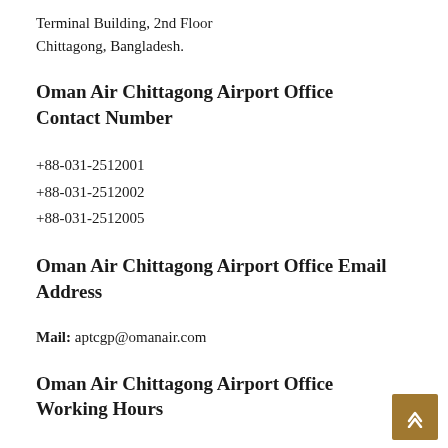Terminal Building, 2nd Floor
Chittagong, Bangladesh.
Oman Air Chittagong Airport Office Contact Number
+88-031-2512001
+88-031-2512002
+88-031-2512005
Oman Air Chittagong Airport Office Email Address
Mail: aptcgp@omanair.com
Oman Air Chittagong Airport Office Working Hours